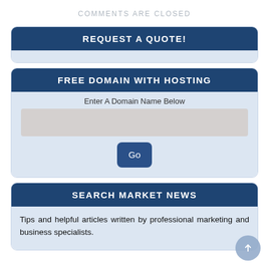COMMENTS ARE CLOSED
REQUEST A QUOTE!
FREE DOMAIN WITH HOSTING
Enter A Domain Name Below
Go
SEARCH MARKET NEWS
Tips and helpful articles written by professional marketing and business specialists.